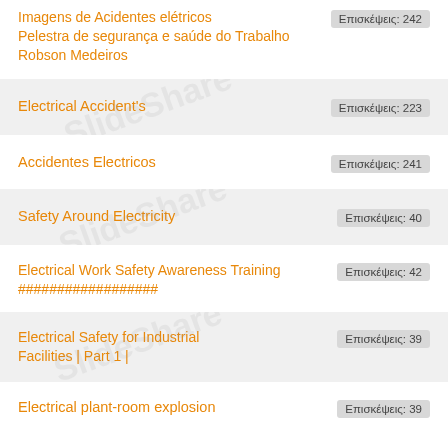Imagens de Acidentes elétricos Pelestra de segurança e saúde do Trabalho Robson Medeiros | Επισκέψεις: 242
Electrical Accident's | Επισκέψεις: 223
Accidentes Electricos | Επισκέψεις: 241
Safety Around Electricity | Επισκέψεις: 40
Electrical Work Safety Awareness Training ################## | Επισκέψεις: 42
Electrical Safety for Industrial Facilities | Part 1 | | Επισκέψεις: 39
Electrical plant-room explosion | Επισκέψεις: 39